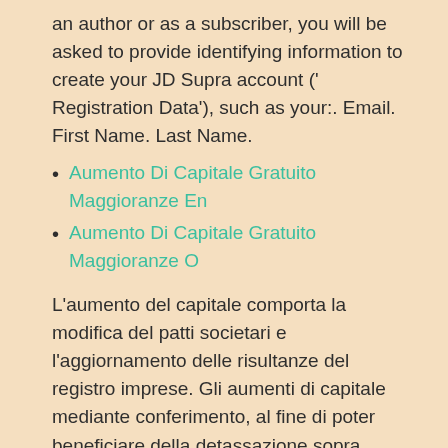an author or as a subscriber, you will be asked to provide identifying information to create your JD Supra account (' Registration Data'), such as your:. Email. First Name. Last Name.
Aumento Di Capitale Gratuito Maggioranze En
Aumento Di Capitale Gratuito Maggioranze O
L'aumento del capitale comporta la modifica del patti societari e l'aggiornamento delle risultanze del registro imprese. Gli aumenti di capitale mediante conferimento, al fine di poter beneficiare della detassazione sopra esposta, devono essere perfezionati tra il 5 Agosto 2009 ed il 5 Febbraio 2010. A differenza di quanto accade in sede di aumento gratuito, ove il capitale reale subisce una modifica meramente qualitativa, realizzandosi, di fatto, una diversa imputazione contabile di poste. Oct 30, 2018 - Con la sottoscrizione